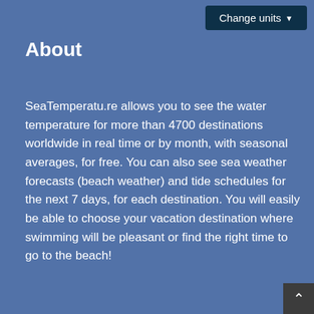Change units ▾
About
SeaTemperatu.re allows you to see the water temperature for more than 4700 destinations worldwide in real time or by month, with seasonal averages, for free. You can also see sea weather forecasts (beach weather) and tide schedules for the next 7 days, for each destination. You will easily be able to choose your vacation destination where swimming will be pleasant or find the right time to go to the beach!
Pages
Home
Contact
Legal Notices